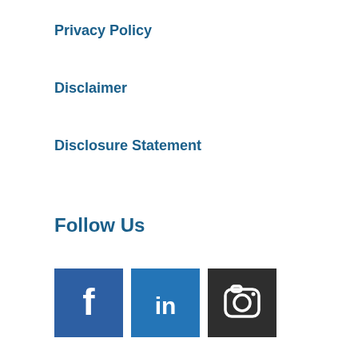Privacy Policy
Disclaimer
Disclosure Statement
Follow Us
[Figure (infographic): Three social media icon buttons: Facebook (blue with f), LinkedIn (blue with in), Instagram (dark gray with camera icon)]